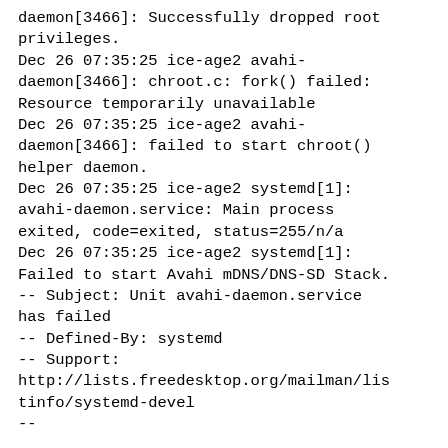daemon[3466]: Successfully dropped root privileges.
Dec 26 07:35:25 ice-age2 avahi-daemon[3466]: chroot.c: fork() failed: Resource temporarily unavailable
Dec 26 07:35:25 ice-age2 avahi-daemon[3466]: failed to start chroot() helper daemon.
Dec 26 07:35:25 ice-age2 systemd[1]: avahi-daemon.service: Main process exited, code=exited, status=255/n/a
Dec 26 07:35:25 ice-age2 systemd[1]: Failed to start Avahi mDNS/DNS-SD Stack.
-- Subject: Unit avahi-daemon.service has failed
-- Defined-By: systemd
-- Support: http://lists.freedesktop.org/mailman/listinfo/systemd-devel
--
-- Unit avahi-daemon.service has failed.